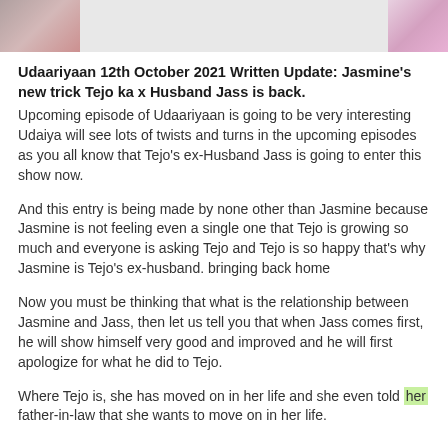[Figure (photo): Photo strip at top showing people, partial view]
Udaariyaan 12th October 2021 Written Update: Jasmine's new trick Tejo ka x Husband Jass is back.
Upcoming episode of Udaariyaan is going to be very interesting Udaiya will see lots of twists and turns in the upcoming episodes as you all know that Tejo's ex-Husband Jass is going to enter this show now.
And this entry is being made by none other than Jasmine because Jasmine is not feeling even a single one that Tejo is growing so much and everyone is asking Tejo and Tejo is so happy that's why Jasmine is Tejo's ex-husband. bringing back home
Now you must be thinking that what is the relationship between Jasmine and Jass, then let us tell you that when Jass comes first, he will show himself very good and improved and he will first apologize for what he did to Tejo.
Where Tejo is, she has moved on in her life and she even told her father-in-law that she wants to move on in her life.